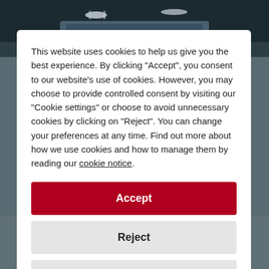[Figure (photo): Background photo of an industrial/warehouse corridor with steel ductwork and fluorescent lighting on the ceiling, taken with a dark teal/grey color palette.]
This website uses cookies to help us give you the best experience. By clicking "Accept", you consent to our website's use of cookies. However, you may choose to provide controlled consent by visiting our "Cookie settings" or choose to avoid unnecessary cookies by clicking on "Reject". You can change your preferences at any time. Find out more about how we use cookies and how to manage them by reading our cookie notice.
Accept
Reject
Cookie settings